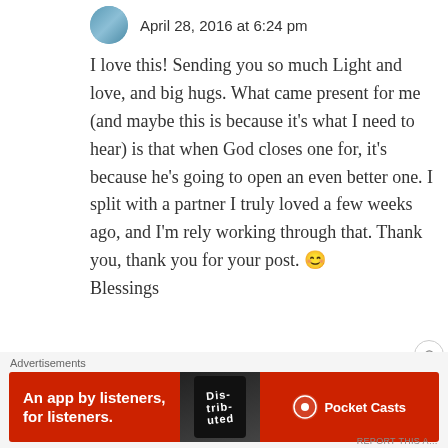April 28, 2016 at 6:24 pm
I love this! Sending you so much Light and love, and big hugs. What came present for me (and maybe this is because it's what I need to hear) is that when God closes one for, it's because he's going to open an even better one. I split with a partner I truly loved a few weeks ago, and I'm rely working through that. Thank you, thank you for your post. 😊 Blessings
Advertisements
[Figure (screenshot): Red banner advertisement for Pocket Casts app: 'An app by listeners, for listeners.' with phone image showing 'Distributed' text and Pocket Casts logo]